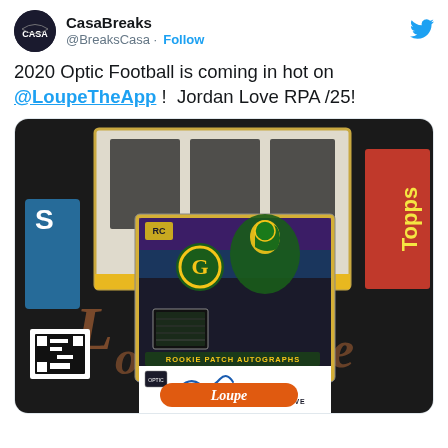CasaBreaks @BreaksCasa · Follow
2020 Optic Football is coming in hot on @LoupeTheApp !  Jordan Love RPA /25!
[Figure (photo): Photo of a Jordan Love Rookie Patch Autograph /25 card from 2020 Optic Football, displayed in front of a box of cards on a Loupe-branded table mat. The card shows Jordan Love in Green Bay Packers uniform with RC badge, Packers logo, a jersey patch, and autograph signature. The bottom shows a Loupe orange card holder.]